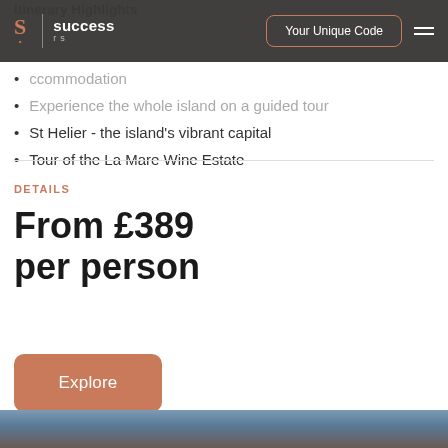Itinerary Highlights
[Figure (logo): Success logo with stylized S and 'success' text, plus navigation bar with 'Your Unique Code' button and hamburger menu]
ccommodation
Experience the whole island on a guided tour
St Helier - the island's vibrant capital
Tour of the La Mare Wine Estate
DETAILS
From £389 per person
Explore
[Figure (photo): Landscape photo strip at bottom of page showing coastal scenery]